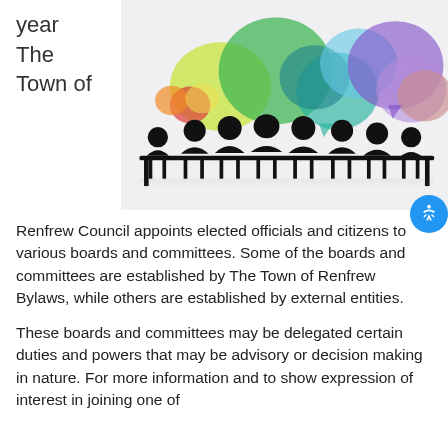year
The
Town of
[Figure (illustration): Colorful overlapping speech bubbles above silhouettes of people sitting at a meeting table]
Renfrew Council appoints elected officials and citizens to various boards and committees.  Some of the boards and committees are established by The Town of Renfrew Bylaws, while others are established by external entities.
These boards and committees may be delegated certain duties and powers that may be advisory or decision making in nature.   For more information and to show expression of interest in joining one of